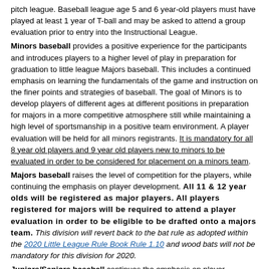pitch league. Baseball league age 5 and 6 year-old players must have played at least 1 year of T-ball and may be asked to attend a group evaluation prior to entry into the Instructional League.
Minors baseball provides a positive experience for the participants and introduces players to a higher level of play in preparation for graduation to little league Majors baseball. This includes a continued emphasis on learning the fundamentals of the game and instruction on the finer points and strategies of baseball. The goal of Minors is to develop players of different ages at different positions in preparation for majors in a more competitive atmosphere still while maintaining a high level of sportsmanship in a positive team environment. A player evaluation will be held for all minors registrants. It is mandatory for all 8 year old players and 9 year old players new to minors to be evaluated in order to be considered for placement on a minors team.
Majors baseball raises the level of competition for the players, while continuing the emphasis on player development. All 11 & 12 year olds will be registered as major players. All players registered for majors will be required to attend a player evaluation in order to be eligible to be drafted onto a majors team. This division will revert back to the bat rule as adopted within the 2020 Little League Rule Book Rule 1.10 and wood bats will not be mandatory for this division for 2020.
Juniors/Seniors baseball continues the emphasis on player development as the players experience the big diamond. These divisions travel to other towns to play.
Minor softball and Major softball follow the same principles as baseball but are for girls only. These divisions travel to other towns to play.